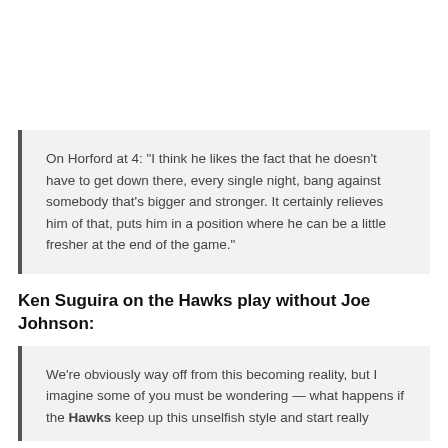On Horford at 4: "I think he likes the fact that he doesn't have to get down there, every single night, bang against somebody that's bigger and stronger. It certainly relieves him of that, puts him in a position where he can be a little fresher at the end of the game."
Ken Suguira on the Hawks play without Joe Johnson:
We're obviously way off from this becoming reality, but I imagine some of you must be wondering — what happens if the Hawks keep up this unselfish style and start really